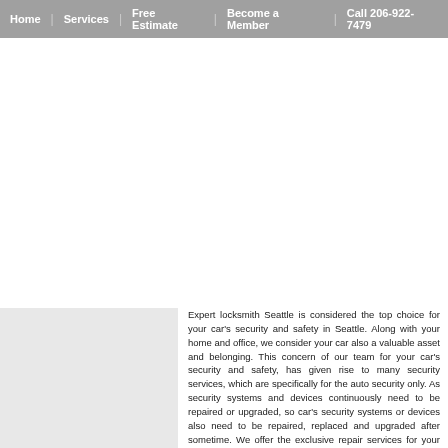Home | Services | Free Estimate | Become a Member | Call 206-922-7479
[Figure (other): Gray placeholder image block on the left side of the page]
Expert locksmith Seattle is considered the top choice for your car's security and safety in Seattle. Along with your home and office, we consider your car also a valuable asset and belonging. This concern of our team for your car's security and safety, has given rise to many security services, which are specifically for the auto security only. As security systems and devices continuously need to be repaired or upgraded, so car's security systems or devices also need to be repaired, replaced and upgraded after sometime. We offer the exclusive repair services for your car's security system or devices, so that your car would not get lost or stolen due to non-repairment or non-replacement.
Some of the most popular and mostly availed replacement services, which we offer for car, include the ignition key replacement and the transponder key